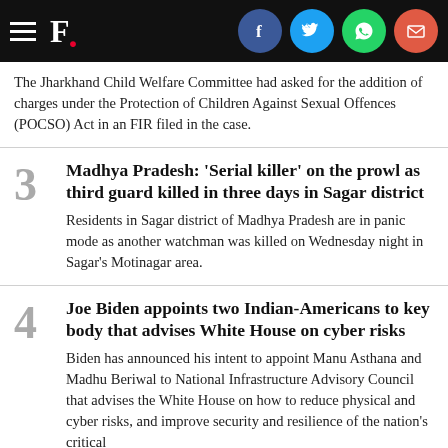F. [Firstpost logo] with social icons: Facebook, Twitter, WhatsApp, Email
The Jharkhand Child Welfare Committee had asked for the addition of charges under the Protection of Children Against Sexual Offences (POCSO) Act in an FIR filed in the case.
Madhya Pradesh: 'Serial killer' on the prowl as third guard killed in three days in Sagar district
Residents in Sagar district of Madhya Pradesh are in panic mode as another watchman was killed on Wednesday night in Sagar's Motinagar area.
Joe Biden appoints two Indian-Americans to key body that advises White House on cyber risks
Biden has announced his intent to appoint Manu Asthana and Madhu Beriwal to National Infrastructure Advisory Council that advises the White House on how to reduce physical and cyber risks, and improve security and resilience of the nation's critical